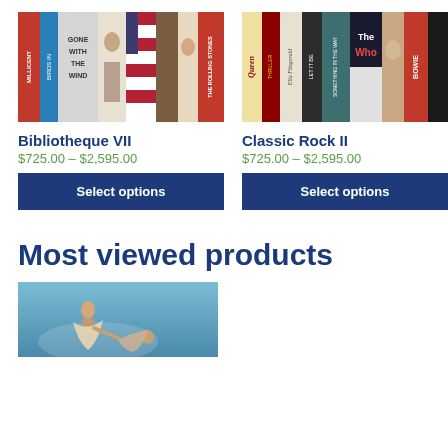[Figure (photo): Photo of book spines on a shelf including 'Gone with the Wind', Rolling Stones, and other titles]
Bibliotheque VII
$725.00 – $2,595.00
[Figure (photo): Photo of music/rock album spines including Queen, The Who, Let It Be, Bowie]
Classic Rock II
$725.00 – $2,595.00
Select options
Select options
Most viewed products
[Figure (photo): Partial photo showing a figure against a blue sky background]